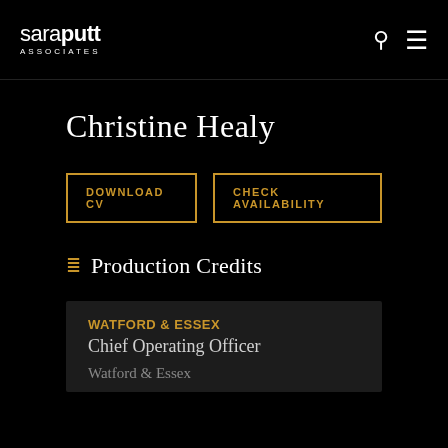saraputt associates
Christine Healy
DOWNLOAD CV
CHECK AVAILABILITY
Production Credits
WATFORD & ESSEX
Chief Operating Officer
Watford & Essex